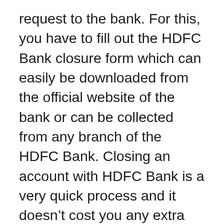request to the bank. For this, you have to fill out the HDFC Bank closure form which can easily be downloaded from the official website of the bank or can be collected from any branch of the HDFC Bank. Closing an account with HDFC Bank is a very quick process and it doesn’t cost you any extra costs or expenses.
An important thing to note here is that, if you don’t have a salary account, then you can not close the account if there is a negative balance in it. Therefore to close an account in HDFC bank, first of all, you again have to make it positive i.e to add a minimum balance in it, and then should request for the closure.